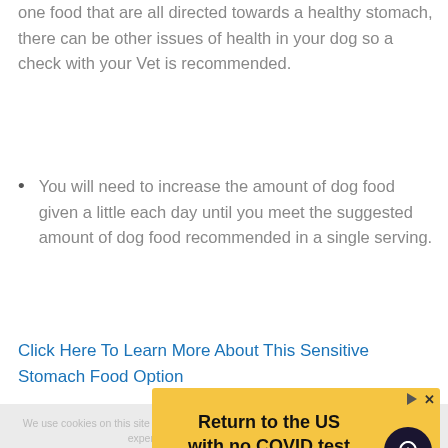one food that are all directed towards a healthy stomach, there can be other issues of health in your dog so a check with your Vet is recommended.
You will need to increase the amount of dog food given a little each day until you meet the suggested amount of dog food recommended in a single serving.
Click Here To Learn More About This Sensitive Stomach Food Option
We use cookies on this site to optimize site functionality and give you the best possible experience. By using this site, you accept
[Figure (screenshot): Advertisement banner with yellow background. Text reads 'Return to the US with no COVID test' with a 'Book now' button and a plane icon on a dark circular background. Terms & Conditions text at bottom right.]